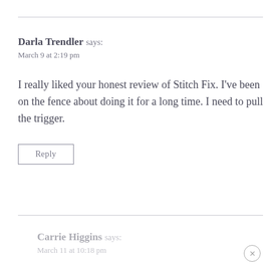Darla Trendler says:
March 9 at 2:19 pm
I really liked your honest review of Stitch Fix. I've been on the fence about doing it for a long time. I need to pull the trigger.
Reply
Carrie Higgins says:
March 11 at 10:18 pm